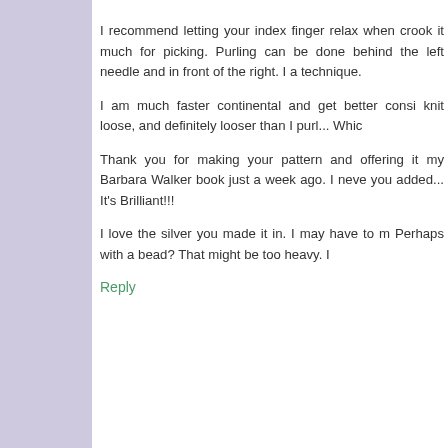I recommend letting your index finger relax when crook it much for picking. Purling can be done behind the left needle and in front of the right. I a technique.
I am much faster continental and get better consi knit loose, and definitely looser than I purl... Whic
Thank you for making your pattern and offering it my Barbara Walker book just a week ago. I neve you added... It's Brilliant!!!
I love the silver you made it in. I may have to m Perhaps with a bead? That might be too heavy. I
Reply
.:{ Grace }:. November 7, 2015 at 11:56 AM
[Figure (other): Advertisement banner: Lidl: More Food for Less Money]
Lidl: More Food for Less Money
Lidl